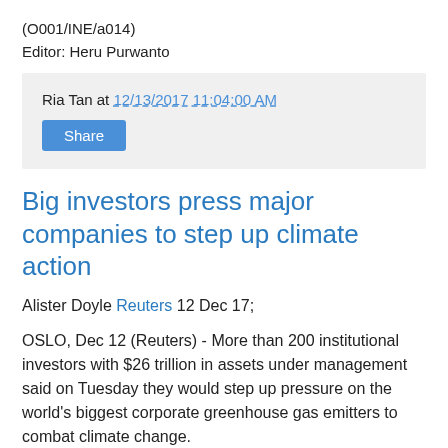(O001/INE/a014)
Editor: Heru Purwanto
Ria Tan at 12/13/2017 11:04:00 AM
Share
Big investors press major companies to step up climate action
Alister Doyle Reuters 12 Dec 17;
OSLO, Dec 12 (Reuters) - More than 200 institutional investors with $26 trillion in assets under management said on Tuesday they would step up pressure on the world's biggest corporate greenhouse gas emitters to combat climate change.
Two years to the day since 195 governments adopted the Pa...